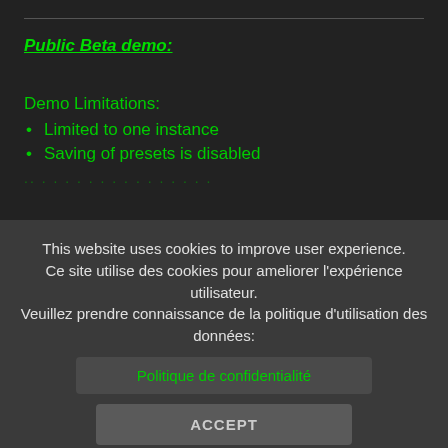Public Beta demo:
Demo Limitations:
Limited to one instance
Saving of presets is disabled
This website uses cookies to improve user experience. Ce site utilise des cookies pour ameliorer l'expérience utilisateur. Veuillez prendre connaissance de la politique d'utilisation des données:
Politique de confidentialité
ACCEPT